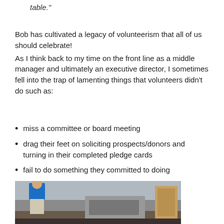table."
Bob has cultivated a legacy of volunteerism that all of us should celebrate! As I think back to my time on the front line as a middle manager and ultimately an executive director, I sometimes fell into the trap of lamenting things that volunteers didn't do such as:
miss a committee or board meeting
drag their feet on soliciting prospects/donors and turning in their completed pledge cards
fail to do something they committed to doing
[Figure (photo): A person in a blue shirt standing in what appears to be a kitchen or food service area with a stove/cooking equipment visible.]